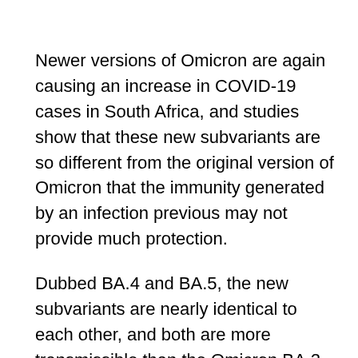Newer versions of Omicron are again causing an increase in COVID-19 cases in South Africa, and studies show that these new subvariants are so different from the original version of Omicron that the immunity generated by an infection previous may not provide much protection.
Dubbed BA.4 and BA.5, the new subvariants are nearly identical to each other, and both are more transmissible than the Omicron BA.2 subvariant. In South Africa, they replaced the BA.2 strain in less than a month. They are now responsible for a spike in COVID-19 cases in South Africa, which have tripled since mid-April.